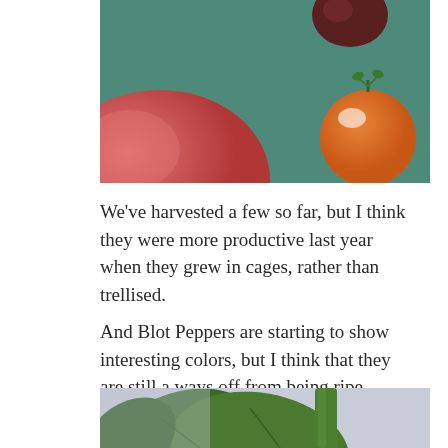[Figure (photo): Close-up photo of tomatoes on a teal/blue-green surface. A large red/pink tomato is visible on the left and an orange cherry tomato with green stem is on the right.]
We've harvested a few so far, but I think they were more productive last year when they grew in cages, rather than trellised.
And Blot Peppers are starting to show interesting colors, but I think that they are still a ways off from being ripe.
[Figure (photo): Partial photo of a pepper plant with large green leaves and green peppers, partially cut off at the bottom of the page.]